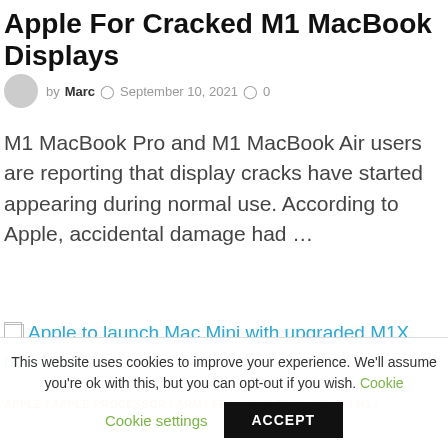Apple For Cracked M1 MacBook Displays
by Marc  September 10, 2021  0
M1 MacBook Pro and M1 MacBook Air users are reporting that display cracks have started appearing during normal use. According to Apple, accidental damage had …
[Figure (other): Broken image placeholder for article link thumbnail]
Apple to launch Mac Mini with upgraded M1X processor
APPLE / APPLE PROCESSOR / ARM / FEATURED TECH NEWS / M1 /
This website uses cookies to improve your experience. We'll assume you're ok with this, but you can opt-out if you wish. Cookie settings ACCEPT